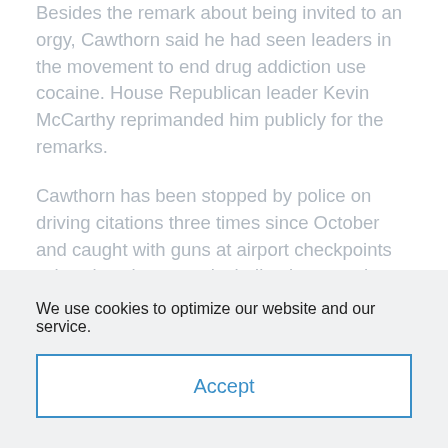Besides the remark about being invited to an orgy, Cawthorn said he had seen leaders in the movement to end drug addiction use cocaine. House Republican leader Kevin McCarthy reprimanded him publicly for the remarks.

Cawthorn has been stopped by police on driving citations three times since October and caught with guns at airport checkpoints twice since last year, including last month. And videos released in the campaign's final weeks showed Cawthorn in sexually suggestive poses, which he said were from several years ago — meant to be funny and nothing else.
We use cookies to optimize our website and our service.
Accept